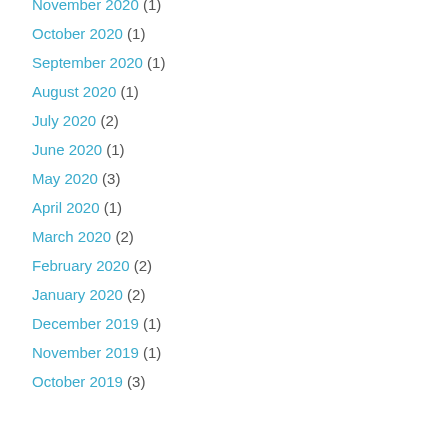November 2020 (1)
October 2020 (1)
September 2020 (1)
August 2020 (1)
July 2020 (2)
June 2020 (1)
May 2020 (3)
April 2020 (1)
March 2020 (2)
February 2020 (2)
January 2020 (2)
December 2019 (1)
November 2019 (1)
October 2019 (3)